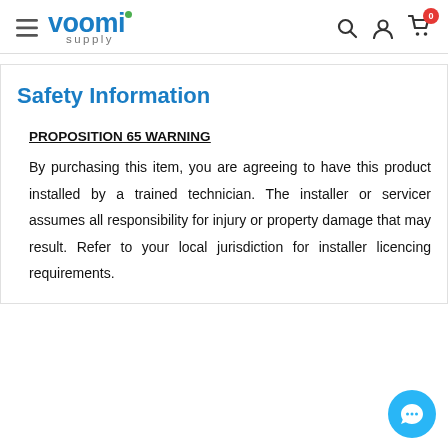voomi supply — navigation header with hamburger menu, search, account, and cart icons
Safety Information
PROPOSITION 65 WARNING
By purchasing this item, you are agreeing to have this product installed by a trained technician. The installer or servicer assumes all responsibility for injury or property damage that may result. Refer to your local jurisdiction for installer licencing requirements.